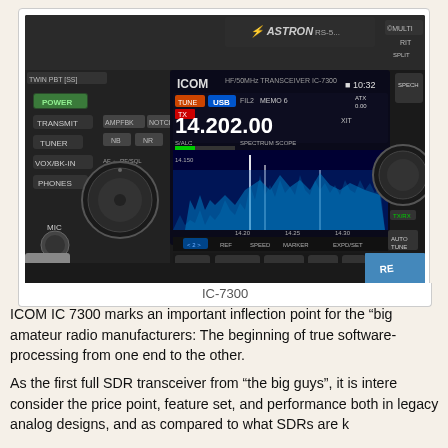[Figure (photo): Close-up photograph of an ICOM IC-7300 HF/50MHz transceiver radio with spectrum scope display showing 14.202.00 MHz, with an Astron power supply visible in the background. The radio front panel shows controls including POWER, TRANSMIT, TUNER, VOX/BK-IN, PHONES, MIC, AMPFBK, NOTCH, NB, NR buttons, and various knobs.]
IC-7300
ICOM IC 7300 marks an important inflection point for the “big amateur radio manufacturers: The beginning of true software- processing from one end to the other.
As the first full SDR transceiver from “the big guys”, it is intere consider the price point, feature set, and performance both in legacy analog designs, and as compared to what SDRs are k